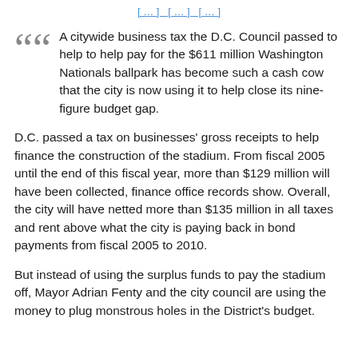[…] […] […]
A citywide business tax the D.C. Council passed to help to help pay for the $611 million Washington Nationals ballpark has become such a cash cow that the city is now using it to help close its nine-figure budget gap.
D.C. passed a tax on businesses' gross receipts to help finance the construction of the stadium. From fiscal 2005 until the end of this fiscal year, more than $129 million will have been collected, finance office records show. Overall, the city will have netted more than $135 million in all taxes and rent above what the city is paying back in bond payments from fiscal 2005 to 2010.
But instead of using the surplus funds to pay the stadium off, Mayor Adrian Fenty and the city council are using the money to plug monstrous holes in the District's budget.